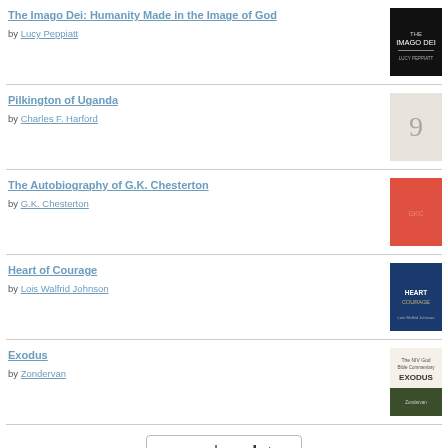The Imago Dei: Humanity Made in the Image of God by Lucy Peppiatt
Pilkington of Uganda by Charles F. Harford
The Autobiography of G.K. Chesterton by G.K. Chesterton
Heart of Courage by Lois Walfrid Johnson
Exodus by Zondervan
[Figure (logo): goodreads logo inside a rounded rectangle button]